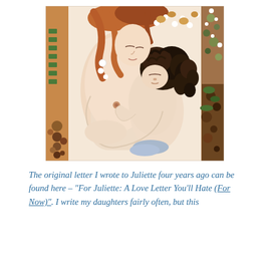[Figure (illustration): A painting in the style of Gustav Klimt's 'The Three Ages of Woman' showing a mother with auburn hair embracing a young child. The figures are depicted in soft warm tones (peach, cream, light brown) with decorative floral and ornamental elements in green, orange, brown and white on the sides. The mother's face is turned downward toward the sleeping or resting child who has dark curly hair. Both figures are rendered in a symbolic Art Nouveau style.]
The original letter I wrote to Juliette four years ago can be found here – "For Juliette: A Love Letter You'll Hate (For Now)". I write my daughters fairly often, but this